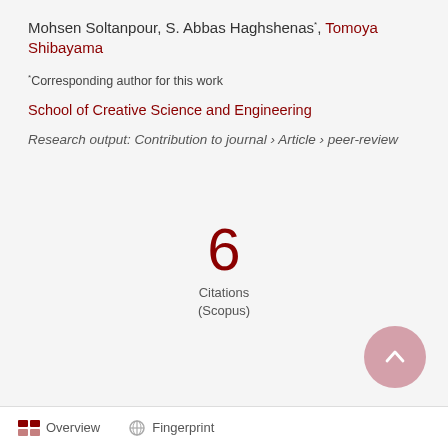Mohsen Soltanpour, S. Abbas Haghshenas*, Tomoya Shibayama
* Corresponding author for this work
School of Creative Science and Engineering
Research output: Contribution to journal › Article › peer-review
6 Citations (Scopus)
Overview   Fingerprint